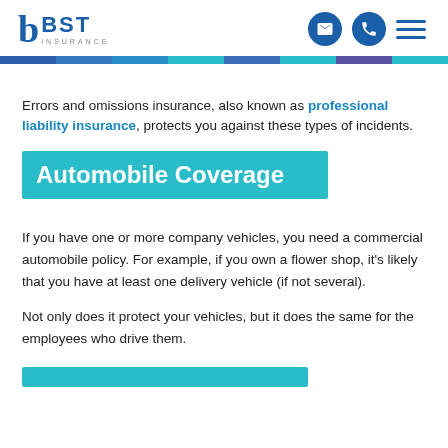BST Insurance
Errors and omissions insurance, also known as professional liability insurance, protects you against these types of incidents.
Automobile Coverage
If you have one or more company vehicles, you need a commercial automobile policy. For example, if you own a flower shop, it's likely that you have at least one delivery vehicle (if not several).
Not only does it protect your vehicles, but it does the same for the employees who drive them.